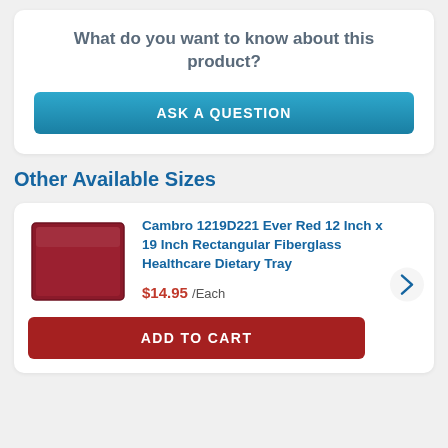What do you want to know about this product?
ASK A QUESTION
Other Available Sizes
Cambro 1219D221 Ever Red 12 Inch x 19 Inch Rectangular Fiberglass Healthcare Dietary Tray
$14.95 /Each
ADD TO CART